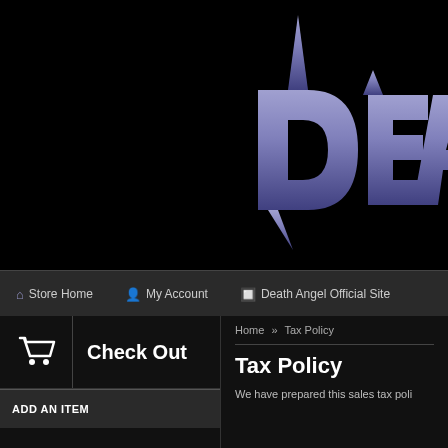[Figure (logo): Death Angel heavy metal band logo in purple/blue metallic lettering on black background, showing 'DEAT' (partially cropped)]
Store Home | My Account | Death Angel Official Site
Home » Tax Policy
[Figure (other): Check Out button with shopping cart icon]
ADD AN ITEM
Tax Policy
We have prepared this sales tax poli